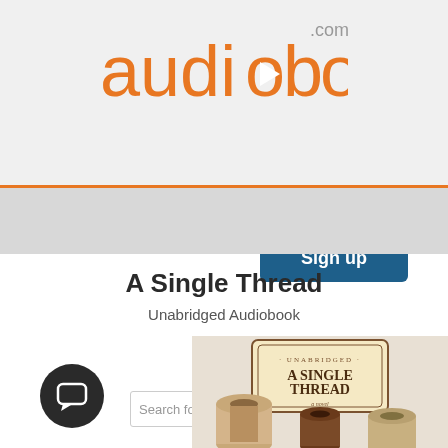[Figure (logo): audiobooks.com logo with orange play button icon inside the letter 'o']
[Figure (screenshot): Sign up button — dark blue rounded rectangle with white bold text 'Sign up']
[Figure (screenshot): Search bar with placeholder text 'Search for a great book', magnifying glass icon, and orange hamburger menu icon]
A Single Thread
Unabridged Audiobook
[Figure (illustration): Book cover of 'A Single Thread — A Novel' (Unabridged), showing wooden thread spools on a light background with vintage label design]